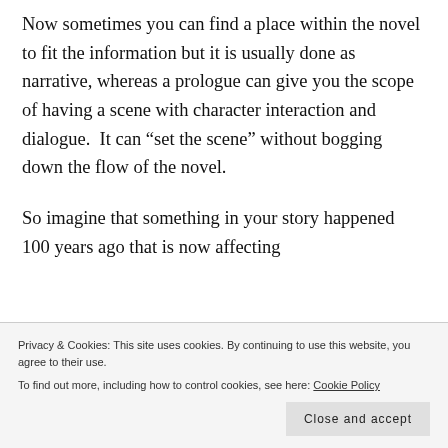Now sometimes you can find a place within the novel to fit the information but it is usually done as narrative, whereas a prologue can give you the scope of having a scene with character interaction and dialogue.  It can “set the scene” without bogging down the flow of the novel.
So imagine that something in your story happened 100 years ago that is now affecting
Privacy & Cookies: This site uses cookies. By continuing to use this website, you agree to their use.
To find out more, including how to control cookies, see here: Cookie Policy